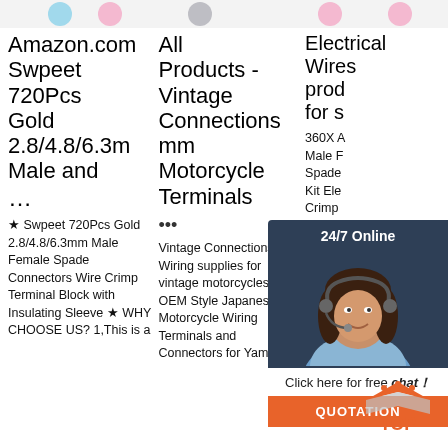[Figure (screenshot): Top banner with colorful circular icons/bubbles on a light background]
Amazon.com All Electrical Products - Wires
Swpeet 720Pcs Vintage Connections products
Gold 2.8/4.8/6.3mm mm for s
Male and Motorcycle
... Terminals
...
★ Swpeet 720Pcs Gold 2.8/4.8/6.3mm Male Female Spade Connectors Wire Crimp Terminal Block with Insulating Sleeve ★ WHY CHOOSE US? 1,This is a
Vintage Connections - Wiring supplies for vintage motorcycles. OEM Style Japanese Motorcycle Wiring Terminals and Connectors for Yamaha.
360X A Male F Spade Kit Ele Crimp Conne $7.95. shippin sold. 60Pcs T-Tap Splice Wire Connector Insulated Spade Electrical Crimp Terminals Kit. 4.5 out of 5 stars (6) 6
[Figure (screenshot): Live chat widget with '24/7 Online' label, photo of a woman with headset, 'Click here for free chat!' text, and orange QUOTATION button]
[Figure (logo): Orange and gray TOP logo in bottom right corner]